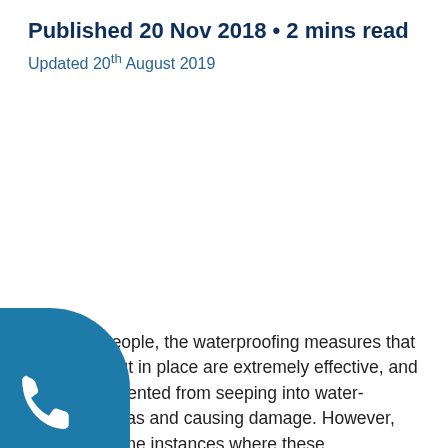Published 20 Nov 2018 • 2 mins read
Updated 20th August 2019
For most people, the waterproofing measures that they have put in place are extremely effective, and water is prevented from seeping into water-sensitive areas and causing damage. However, there are some instances where these waterproofing measures fail
[Figure (illustration): Teal/blue circular phone icon in bottom-left corner]